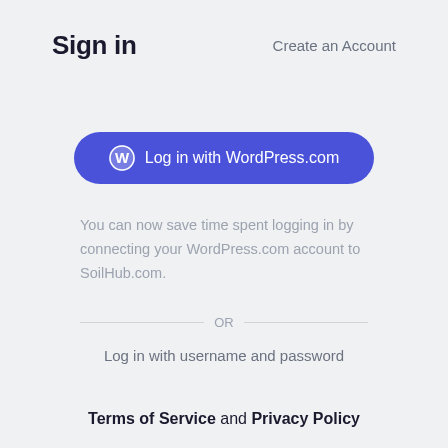Sign in
Create an Account
[Figure (screenshot): Blue rounded button with WordPress logo icon and text 'Log in with WordPress.com']
You can now save time spent logging in by connecting your WordPress.com account to SoilHub.com.
OR
Log in with username and password
Terms of Service and Privacy Policy